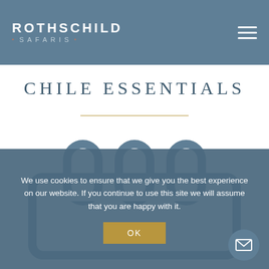ROTHSCHILD
·SAFARIS·
CHILE ESSENTIALS
[Figure (illustration): Calendar icon with three oval ring binders on top, rendered in muted steel blue outline style]
We use cookies to ensure that we give you the best experience on our website. If you continue to use this site we will assume that you are happy with it.
OK